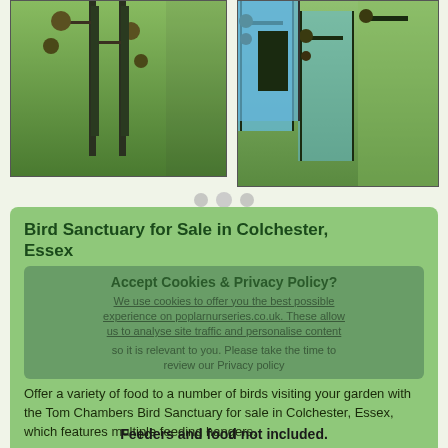[Figure (photo): Two product photos side by side: left shows a bird sanctuary stand with multiple feeding hangers on grass background; right shows a product box/packaging with bird sanctuary imagery and blue sky graphic.]
Bird Sanctuary for Sale in Colchester, Essex
Accept Cookies & Privacy Policy?
We use cookies to offer you the best possible experience on poplarnurseries.co.uk. These allow us to analyse site traffic and personalise content so it is relevant to you. Please take the time to review our Privacy policy
Offer a variety of food to a number of birds visiting your garden with the Tom Chambers Bird Sanctuary for sale in Colchester, Essex, which features multiple feeding hangers.
Great for any size of garden, this includes a double bracket with finial, 4 double hangers.
Feeders and food not included.